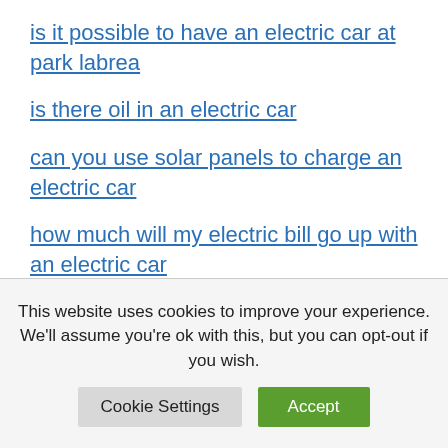is it possible to have an electric car at park labrea
is there oil in an electric car
can you use solar panels to charge an electric car
how much will my electric bill go up with an electric car
does tax incentives apply to used electric cars
This website uses cookies to improve your experience. We'll assume you're ok with this, but you can opt-out if you wish.
Cookie Settings | Accept